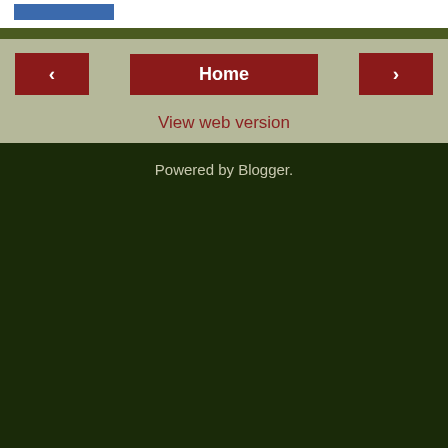[Figure (screenshot): Top white bar with a blue UI element in the upper left corner]
Home
View web version
Powered by Blogger.